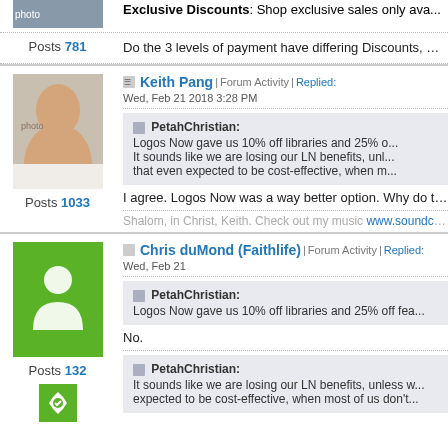Exclusive Discounts: Shop exclusive sales only ava...
Posts 781
Do the 3 levels of payment have differing Discounts, Chris?
Keith Pang | Forum Activity | Replied: Wed, Feb 21 2018 3:28 PM
PetahChristian: Logos Now gave us 10% off libraries and 25% o... It sounds like we are losing our LN benefits, unl... that even expected to be cost-effective, when m...
I agree. Logos Now was a way better option. Why do the two...
Shalom, in Christ, Keith. Check out my music www.soundcloud.com...
Posts 1033
Chris duMond (Faithlife) | Forum Activity | Replied: Wed, Feb 21
PetahChristian: Logos Now gave us 10% off libraries and 25% off fea...
No.
Posts 132
PetahChristian: It sounds like we are losing our LN benefits, unless w... expected to be cost-effective, when most of us don't...